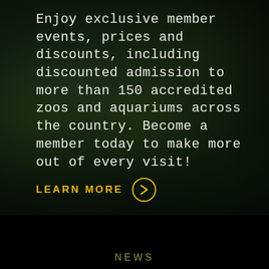Enjoy exclusive member events, prices and discounts, including discounted admission to more than 150 accredited zoos and aquariums across the country. Become a member today to make more out of every visit!
LEARN MORE →
NEWS